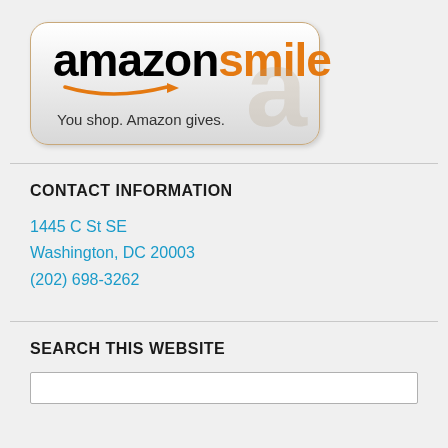[Figure (logo): Amazon Smile logo badge with 'amazon' in black bold text and 'smile' in orange bold text, orange arrow/smile swoosh beneath, tagline 'You shop. Amazon gives.' on a gradient silver/white rounded rectangle background with an orange border.]
CONTACT INFORMATION
1445 C St SE
Washington, DC 20003
(202) 698-3262
SEARCH THIS WEBSITE